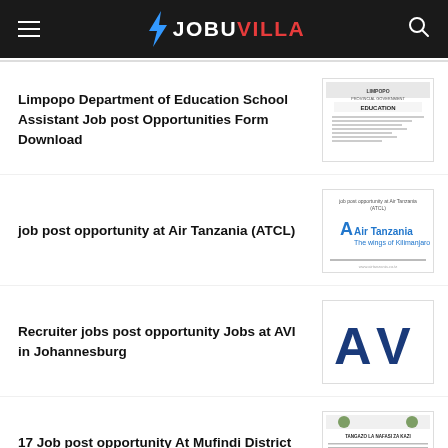JOBUVILLA
Limpopo Department of Education School Assistant Job post Opportunities Form Download
[Figure (screenshot): Limpopo Department of Education document thumbnail]
job post opportunity at Air Tanzania (ATCL)
[Figure (logo): Air Tanzania (ATCL) logo with text 'The wings of Kilimanjaro']
Recruiter jobs post opportunity Jobs at AVI in Johannesburg
[Figure (logo): AVI logo - stylized A and V in dark blue]
17 Job post opportunity At Mufindi District Council
[Figure (screenshot): Mufindi District Council document thumbnail]